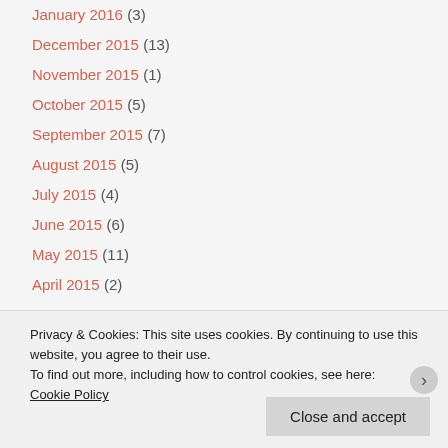January 2016 (3)
December 2015 (13)
November 2015 (1)
October 2015 (5)
September 2015 (7)
August 2015 (5)
July 2015 (4)
June 2015 (6)
May 2015 (11)
April 2015 (2)
Privacy & Cookies: This site uses cookies. By continuing to use this website, you agree to their use.
To find out more, including how to control cookies, see here: Cookie Policy
Close and accept